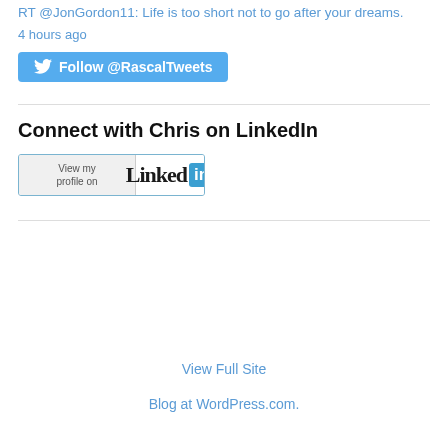RT @JonGordon11: Life is too short not to go after your dreams.
4 hours ago
[Figure (other): Follow @RascalTweets button on Twitter]
Connect with Chris on LinkedIn
[Figure (other): View my profile on LinkedIn button]
View Full Site
Blog at WordPress.com.